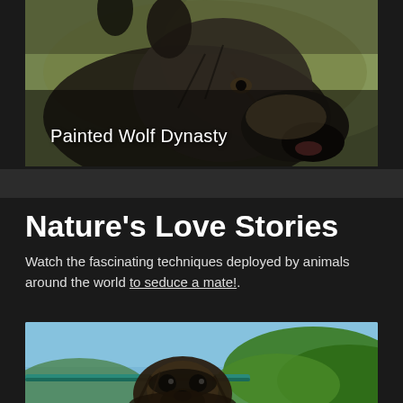[Figure (photo): Close-up photo of a painted wolf (African wild dog) facing right, with blurred green background]
Painted Wolf Dynasty
Nature's Love Stories
Watch the fascinating techniques deployed by animals around the world to seduce a mate!.
[Figure (photo): Close-up photo of a sloth peering over the edge of a boat or surface, with blue sky and green trees in background]